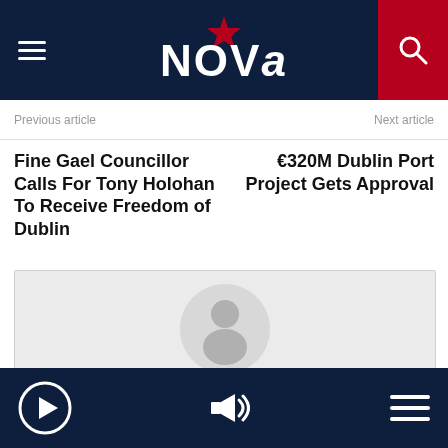NOVA
Previous article
Next article
Fine Gael Councillor Calls For Tony Holohan To Receive Freedom of Dublin
€320M Dublin Port Project Gets Approval
[Figure (other): Audio/media player placeholder showing a circular avatar icon and the label 'News']
Play button, volume icon, and menu icon controls